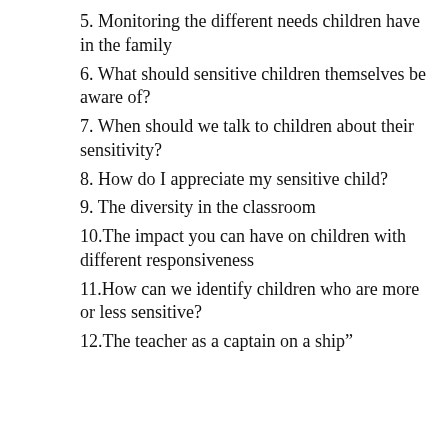5. Monitoring the different needs children have in the family
6. What should sensitive children themselves be aware of?
7. When should we talk to children about their sensitivity?
8. How do I appreciate my sensitive child?
9. The diversity in the classroom
10.The impact you can have on children with different responsiveness
11.How can we identify children who are more or less sensitive?
12.The teacher as a captain on a ship”
13.Will sensitive children be affected by the new media?
Modul 3.3 Praktiske konsekvenser for skoler og institutioner
1. Quality of care and a... for schools and chilcare
2. The quality of childcare
Vi anvender cookies, egne og tredjeparts, for at huske indstillinger, måle trafik og sikre adgang. Klik “Ok” for at acceptere. Ellers er det nødvendigt at forlade hjemmesiden.
OK
Valg